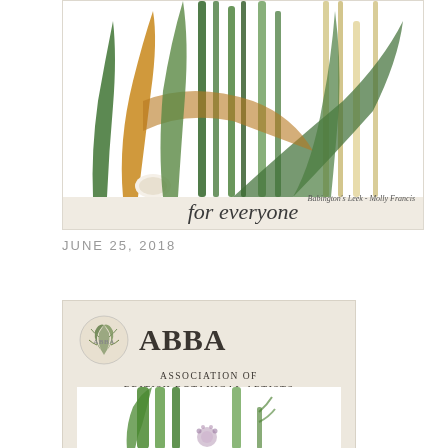[Figure (illustration): Botanical illustration of Babington's Leek (allium plants with green and golden leaves and stems) by Molly Francis, shown in a beige-bordered card. Text 'for everyone' in italic script partially visible at bottom.]
Babington's Leek - Molly Francis
JUNE 25, 2018
[Figure (logo): ABBA (Association of British Botanical Artists) logo card on beige background, featuring the ABBA emblem (a botanical illustration in a circular badge) alongside large serif text 'ABBA' and below it 'ASSOCIATION OF BRITISH BOTANICAL ARTISTS'. A botanical illustration of green plant stems and flowers is visible at the bottom of the card.]